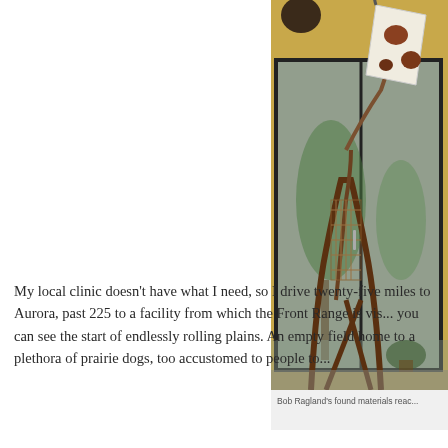[Figure (photo): A metal sculpture made from found materials by Bob Ragland, photographed in front of a building with glass doors. The sculpture appears to be a bird or abstract figure with wire mesh and rusted metal components. Trees and outdoor scenery are reflected in the glass behind it.]
Bob Ragland's found materials reac...
My local clinic doesn't have what I need, so I drive twenty-five miles to Aurora, past 225 to a facility from which the Front Range is vis... you can see the start of endlessly rolling plains. An empty field home to a plethora of prairie dogs, too accustomed to people to...